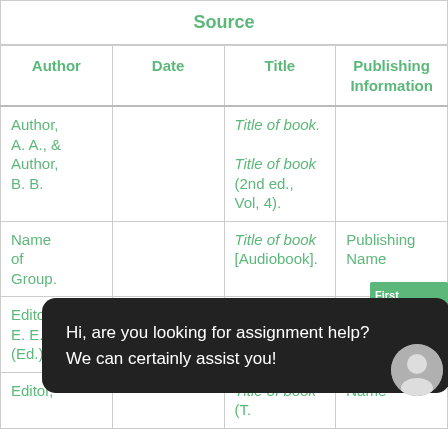| Source |  |  |  |
| --- | --- | --- | --- |
| Author | Date | Title | Publishing Information |
| Author, A. A., & Author, B. B. |  | Title of book.
Title of book (2nd ed., Vol, 4). |  |
| Name of Group. |  | Title of book [Audiobook]. | Publishing Name |
| Editor, E. E. (Ed.) | (2020). | Title of book (E. E. Editor, | Name |
| Editor, |  | Title of book (T. | Name |
Hi, are you looking for assignment help? We can certainly assist you!